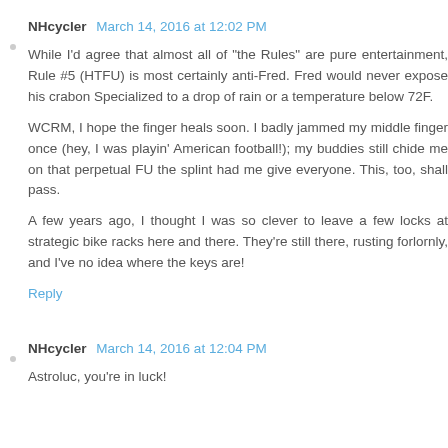NHcycler  March 14, 2016 at 12:02 PM
While I'd agree that almost all of "the Rules" are pure entertainment, Rule #5 (HTFU) is most certainly anti-Fred. Fred would never expose his crabon Specialized to a drop of rain or a temperature below 72F.
WCRM, I hope the finger heals soon. I badly jammed my middle finger once (hey, I was playin' American football!); my buddies still chide me on that perpetual FU the splint had me give everyone. This, too, shall pass.
A few years ago, I thought I was so clever to leave a few locks at strategic bike racks here and there. They're still there, rusting forlornly, and I've no idea where the keys are!
Reply
NHcycler  March 14, 2016 at 12:04 PM
Astroluc, you're in luck!